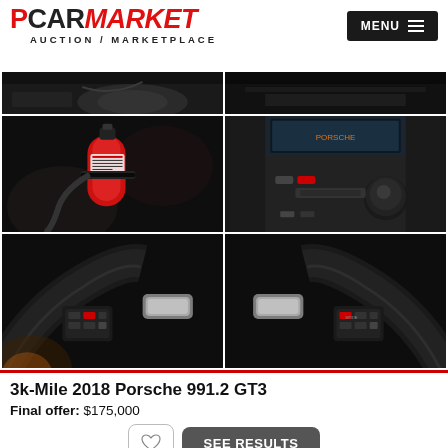PCARMARKET AUCTION / MARKETPLACE
[Figure (photo): Six car interior detail photos in a 2x3 grid showing Porsche 991.2 GT3 interior components including fire extinguisher, gear shift, steering wheel controls]
3k-Mile 2018 Porsche 991.2 GT3
Final offer: $175,000
SEE RESULTS